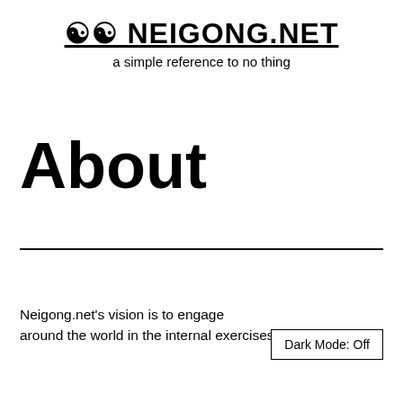☯☯ NEIGONG.NET
a simple reference to no thing
About
Neigong.net's vision is to engage around the world in the internal exercises of